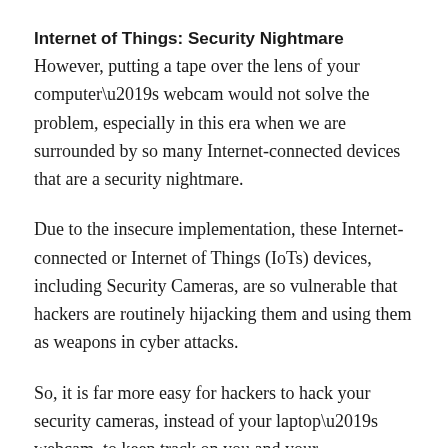Internet of Things: Security Nightmare
However, putting a tape over the lens of your computer’s webcam would not solve the problem, especially in this era when we are surrounded by so many Internet-connected devices that are a security nightmare.
Due to the insecure implementation, these Internet-connected or Internet of Things (IoTs) devices, including Security Cameras, are so vulnerable that hackers are routinely hijacking them and using them as weapons in cyber attacks.
So, it is far more easy for hackers to hack your security cameras, instead of your laptop’s webcam, to keep track on you and your environment.